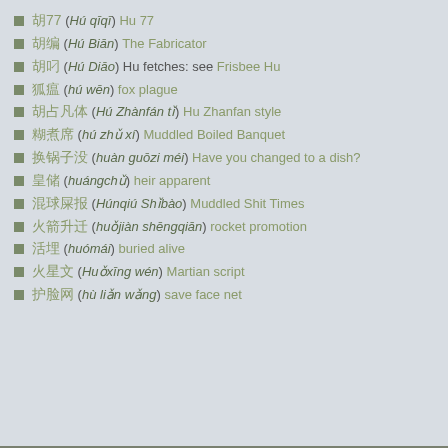胡77 (Hú qīqī) Hu 77
胡编 (Hú Biān) The Fabricator
胡叼 (Hú Diāo) Hu fetches: see Frisbee Hu
狐瘟 (hú wēn) fox plague
胡占凡体 (Hú Zhànfán tǐ) Hu Zhanfan style
糊煮席 (hú zhǔ xí) Muddled Boiled Banquet
换锅子没 (huàn guōzi méi) Have you changed to a dish?
皇储 (huángchǔ) heir apparent
混球屎报 (Húnqiú Shǐbào) Muddled Shit Times
火箭升迁 (huǒjiàn shēngqiān) rocket promotion
活埋 (huómái) buried alive
火星文 (Huǒxīng wén) Martian script
护脸网 (hù liǎn wǎng) save face net